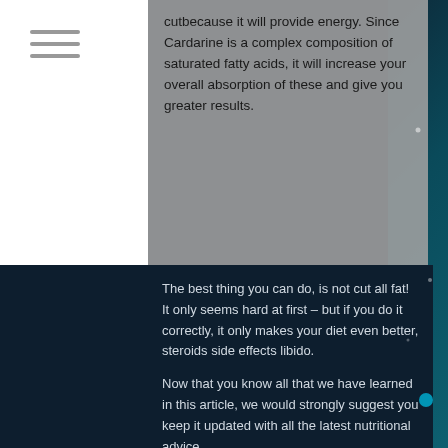cutbecause it will provide energy. Since Cardarine is a complex composition of saturated fatty acids, it will increase your overall absorption of these and give you greater results.
The best thing you can do, is not cut all fat! It only seems hard at first – but if you do it correctly, it only makes your diet even better, steroids side effects libido.
Now that you know all that we have learned in this article, we would strongly suggest you keep it updated with all the latest nutritional advice.
Stay in Shape, gw0742 vs cardarine!
All this research from our study makes us believe that one of the biggest factors in maintaining your optimal body fat ratio and